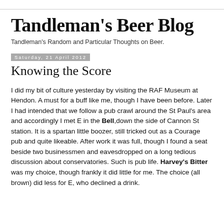Tandleman's Beer Blog
Tandleman's Random and Particular Thoughts on Beer.
Saturday, 21 April 2012
Knowing the Score
I did my bit of culture yesterday by visiting the RAF Museum at Hendon. A must for a buff like me, though I have been before. Later I had intended that we follow a pub crawl around the St Paul's area and accordingly I met E in the Bell,down the side of Cannon St station. It is a spartan little boozer, still tricked out as a Courage pub and quite likeable. After work it was full, though I found a seat beside two businessmen and eavesdropped on a long tedious discussion about conservatories. Such is pub life. Harvey's Bitter was my choice, though frankly it did little for me. The choice (all brown) did less for E, who declined a drink.